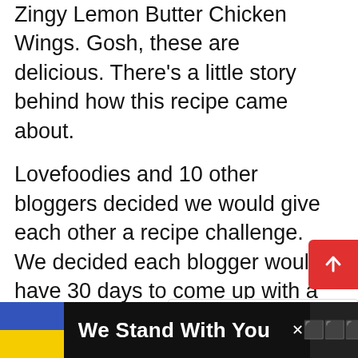Zingy Lemon Butter Chicken Wings. Gosh, these are delicious. There's a little story behind how this recipe came about.
Lovefoodies and 10 other bloggers decided we would give each other a recipe challenge. We decided each blogger would have 30 days to come up with a tested and of course most delicious drooling recipe suitable for all skill levels and one which would become a keeper recipe in our homes.
[Figure (other): Scroll-to-top button (red rounded rectangle with upward arrow) and share button (circular icon with share symbol)]
[Figure (other): What's Next panel showing Classic Italian Spaghetti... with a circular food thumbnail]
ADVERTISEMENT
[Figure (other): Advertisement banner with Ukrainian flag colors (blue and yellow), text 'We Stand With You', close button, and media logo]